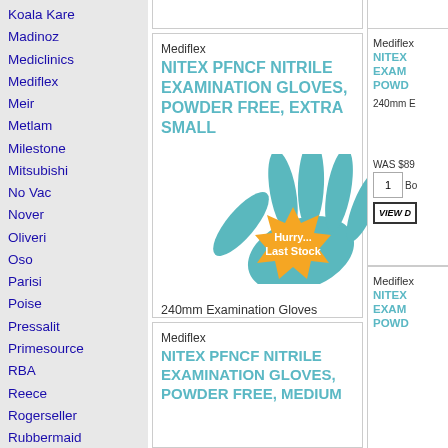Koala Kare
Madinoz
Mediclinics
Mediflex
Meir
Metlam
Milestone
Mitsubishi
No Vac
Nover
Oliveri
Oso
Parisi
Poise
Pressalit
Primesource
RBA
Reece
Rogerseller
Rubbermaid
Scott
Solvol
Mediflex
NITEX PFNCF NITRILE EXAMINATION GLOVES, POWDER FREE, EXTRA SMALL
[Figure (photo): Teal nitrile examination glove with orange starburst badge reading Hurry... Last Stock]
240mm Examination Gloves
SAVE $15.00
WAS $89.50
NOW $74.50
Mediflex
NITEX PFNCF NITRILE EXAMINATION GLOVES, POWDER FREE, MEDIUM